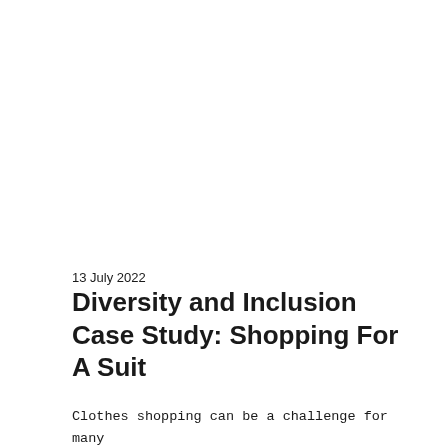13 July 2022
Diversity and Inclusion Case Study: Shopping For A Suit
Clothes shopping can be a challenge for many trans and gender diverse people. Mainstream